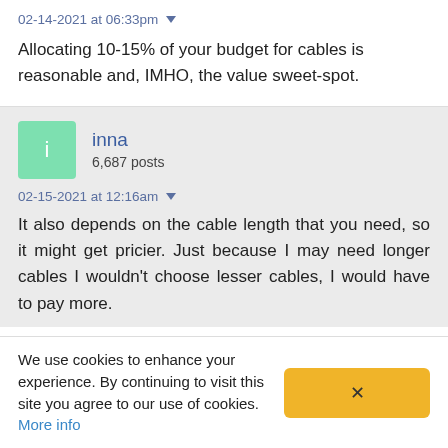02-14-2021 at 06:33pm
Allocating 10-15% of your budget for cables is reasonable and, IMHO, the value sweet-spot.
inna
6,687 posts
02-15-2021 at 12:16am
It also depends on the cable length that you need, so it might get pricier. Just because I may need longer cables I wouldn't choose lesser cables, I would have to pay more.
We use cookies to enhance your experience. By continuing to visit this site you agree to our use of cookies. More info